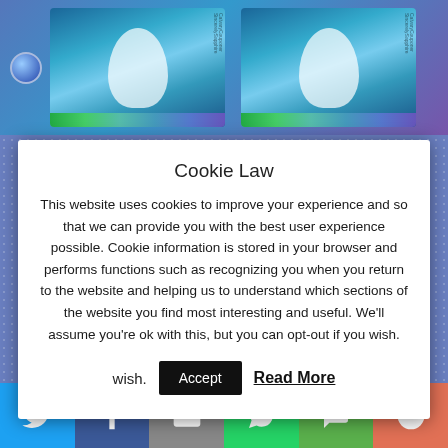[Figure (screenshot): Background with decorative blue-purple pattern and two fantasy-themed image thumbnails at the top, each showing a white horse/unicorn against a cosmic blue background]
Cookie Law
This website uses cookies to improve your experience and so that we can provide you with the best user experience possible. Cookie information is stored in your browser and performs functions such as recognizing you when you return to the website and helping us to understand which sections of the website you find most interesting and useful. We'll assume you're ok with this, but you can opt-out if you wish.
Accept   Read More
Updates for 10-01-18
[Figure (infographic): Social sharing bar with icons for Twitter, Facebook, Email, WhatsApp, SMS, and More options]